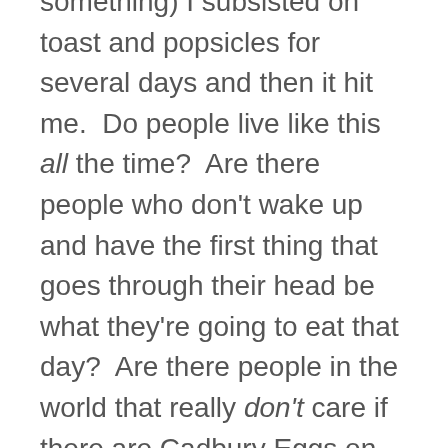something) I subsisted on toast and popsicles for several days and then it hit me.  Do people live like this all the time?  Are there people who don't wake up and have the first thing that goes through their head be what they're going to eat that day?  Are there people in the world that really don't care if there are Cadbury Eggs on the counter or Girl Scout Cookies in the pantry? Or who don't have recipes rolling around in their brains on a never-ending loop?  I've heard they exist, but after my week here's one thing I now know for sure:  I'm not one of those people.  Boy